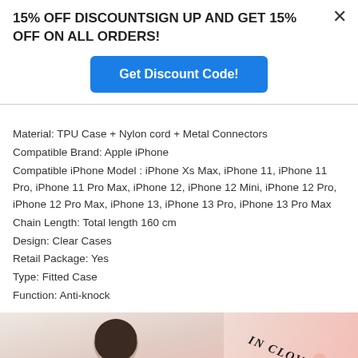15% OFF DISCOUNTSIGN UP AND GET 15% OFF ON ALL ORDERS!
Get Discount Code!
Material: TPU Case + Nylon cord + Metal Connectors
Compatible Brand: Apple iPhone
Compatible iPhone Model : iPhone Xs Max, iPhone 11, iPhone 11 Pro, iPhone 11 Pro Max, iPhone 12, iPhone 12 Mini, iPhone 12 Pro, iPhone 12 Pro Max, iPhone 13, iPhone 13 Pro, iPhone 13 Pro Max
Chain Length: Total length 160 cm
Design: Clear Cases
Retail Package: Yes
Type: Fitted Case
Function: Anti-knock
[Figure (photo): Product photo showing a person and 'IN CLOVER' text on a pink background with a clover design]